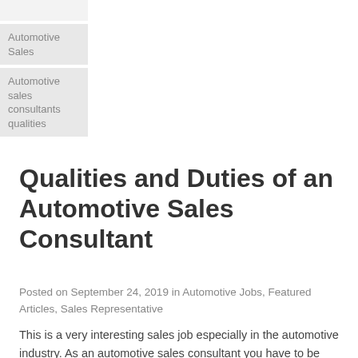Automotive Sales
Automotive sales consultants qualities
Qualities and Duties of an Automotive Sales Consultant
Posted on September 24, 2019 in Automotive Jobs, Featured Articles, Sales Representative
This is a very interesting sales job especially in the automotive industry.  As an automotive sales consultant you have to be ready to go out and meet customers and convert sales. This job comes with a salary plus commission/ Bonus package. Some companies offer cash bonus according to the sales...